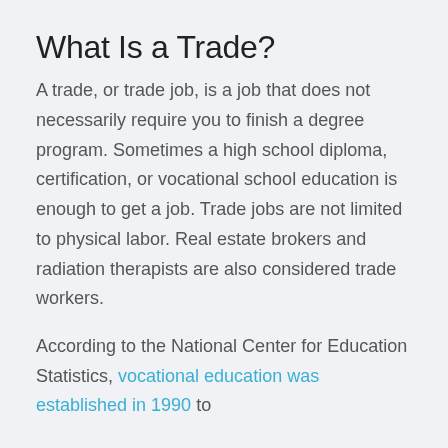What Is a Trade?
A trade, or trade job, is a job that does not necessarily require you to finish a degree program. Sometimes a high school diploma, certification, or vocational school education is enough to get a job. Trade jobs are not limited to physical labor. Real estate brokers and radiation therapists are also considered trade workers.
According to the National Center for Education Statistics, vocational education was established in 1990 to